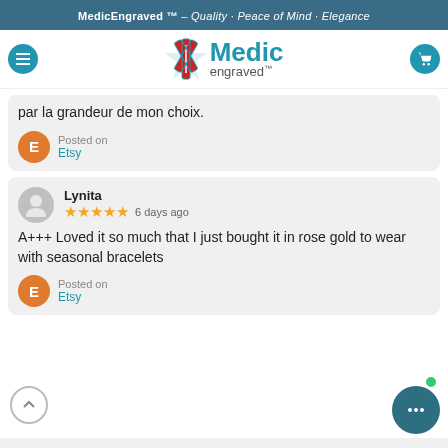MedicEngraved™ – Quality · Peace of Mind · Elegance
[Figure (logo): MedicEngraved logo with red star of life and blue Medic Engraved text]
par la grandeur de mon choix.
Posted on
Etsy
Lynita
★★★★★ 6 days ago
A+++ Loved it so much that I just bought it in rose gold to wear with seasonal bracelets
Posted on
Etsy